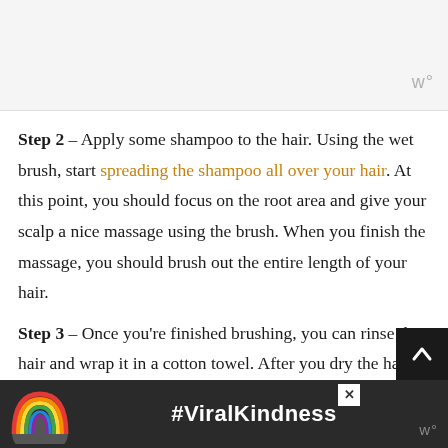Step 2 – Apply some shampoo to the hair. Using the wet brush, start spreading the shampoo all over your hair. At this point, you should focus on the root area and give your scalp a nice massage using the brush. When you finish the massage, you should brush out the entire length of your hair.
Step 3 – Once you're finished brushing, you can rinse the hair and wrap it in a cotton towel. After you dry the hair, you should give it another comb with the wet brush just to make sure your hair is fully detangled.
[Figure (infographic): #ViralKindness advertisement banner with rainbow graphic at bottom of page]